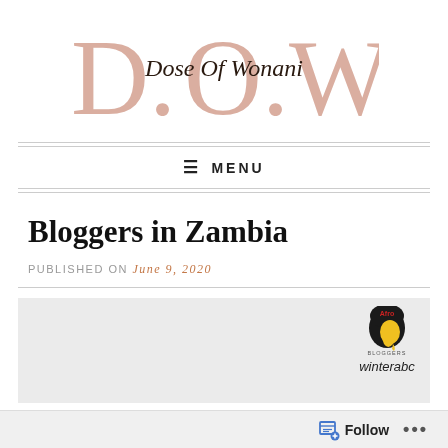[Figure (logo): D.O.W logo - large serif letters D.O.W in rose/salmon color with cursive script 'Dose Of Wonani' overlaid]
☰ MENU
Bloggers in Zambia
PUBLISHED ON June 9, 2020
[Figure (logo): Afro Bloggers winterabc badge/logo on light gray background]
Follow ...